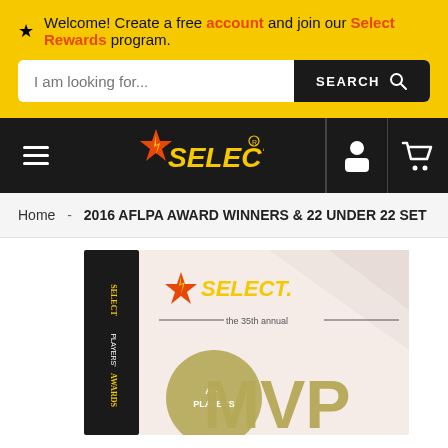Welcome! Create a free account and join our Select Rewards program.
I am looking for... SEARCH
[Figure (logo): Select trading cards logo with star and stylized text]
Home - 2016 AFLPA AWARD WINNERS & 22 UNDER 22 SET
[Figure (photo): Product box for 2016 AFL Players MVP Award Winners & 22 Under 22 Set, showing Select logo and text 'the 35th annual AFL Players MVP']